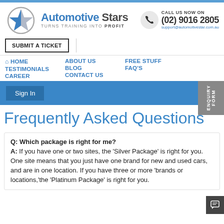[Figure (logo): Automotive Stars logo with star icon in a circle and tagline TURNS TRAINING INTO PROFIT]
SUBMIT A TICKET
CALL US NOW ON
(02) 9016 2805
support@automotivestar.com.au
HOME  ABOUT US  FREE STUFF
TESTIMONIALS  BLOG  FAQ'S
CAREER  CONTACT US
Sign In
ENQUIRY FORM
Frequently Asked Questions
Q: Which package is right for me?
A: If you have one or two sites, the 'Silver Package' is right for you. One site means that you just have one brand for new and used cars, and are in one location. If you have three or more 'brands or locations,'the 'Platinum Package' is right for you.